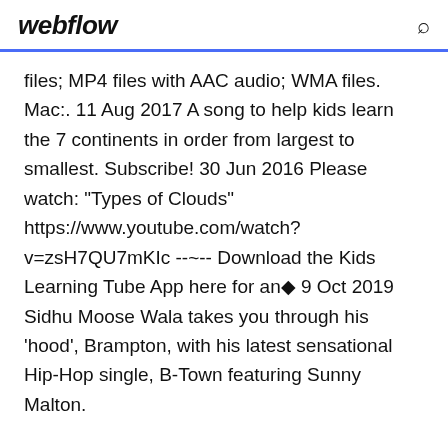webflow
files; MP4 files with AAC audio; WMA files. Mac:. 11 Aug 2017 A song to help kids learn the 7 continents in order from largest to smallest. Subscribe! 30 Jun 2016 Please watch: "Types of Clouds" https://www.youtube.com/watch?v=zsH7QU7mKIc --~-- Download the Kids Learning Tube App here for an◆ 9 Oct 2019 Sidhu Moose Wala takes you through his 'hood', Brampton, with his latest sensational Hip-Hop single, B-Town featuring Sunny Malton.
15 Jul 2016 Search your favorite song or video - Listen your favorite music - When you found